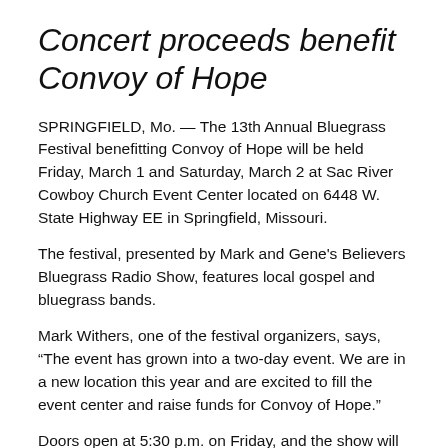Concert proceeds benefit Convoy of Hope
SPRINGFIELD, Mo. — The 13th Annual Bluegrass Festival benefitting Convoy of Hope will be held Friday, March 1 and Saturday, March 2 at Sac River Cowboy Church Event Center located on 6448 W. State Highway EE in Springfield, Missouri.
The festival, presented by Mark and Gene's Believers Bluegrass Radio Show, features local gospel and bluegrass bands.
Mark Withers, one of the festival organizers, says, “The event has grown into a two-day event. We are in a new location this year and are excited to fill the event center and raise funds for Convoy of Hope.”
Doors open at 5:30 p.m. on Friday, and the show will start at 6:30 p.m. Friday night’s lineup includes Po’ Anna, Lonesome Road, Casey and Atta Boys, The Creek Rocks, and The Chapmans.
On Saturday, doors open at 11:30 a.m., and the show will start at 12:30 p.m. Saturday’s lineup includes Possum Trot, Red Bridge Bluegrass, Midnight Flight, New Horizons, Bob & Alta Courtney…